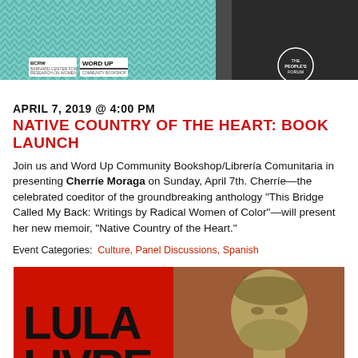[Figure (photo): Event banner image showing BCRW, Word Up, and The People's Forum logos on a teal chevron/zigzag patterned background with a dark section]
APRIL 7, 2019 @ 4:00 PM
NATIVE COUNTRY OF THE HEART: BOOK LAUNCH
Join us and Word Up Community Bookshop/Librería Comunitaria in presenting Cherríe Moraga on Sunday, April 7th. Cherríe—the celebrated coeditor of the groundbreaking anthology "This Bridge Called My Back: Writings by Radical Women of Color"—will present her new memoir, "Native Country of the Heart."
Event Categories: Culture, Panel Discussions, Spanish
[Figure (photo): Red poster with text LULA LIVRE in large black letters on the left and a greyscale/olive-tinted photo of a bearded man with hands clasped on the right]